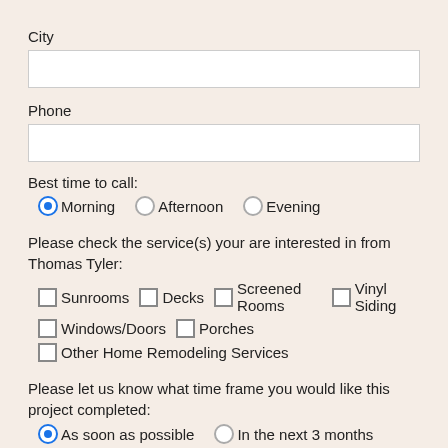City
[Figure (other): Empty text input field for City]
Phone
[Figure (other): Empty text input field for Phone]
Best time to call:
Morning (selected), Afternoon, Evening - radio buttons
Please check the service(s) your are interested in from Thomas Tyler:
Sunrooms checkbox
Decks checkbox
Screened Rooms checkbox
Vinyl Siding checkbox
Windows/Doors checkbox
Porches checkbox
Other Home Remodeling Services checkbox
Please let us know what time frame you would like this project completed:
As soon as possible (selected), In the next 3 months - radio buttons